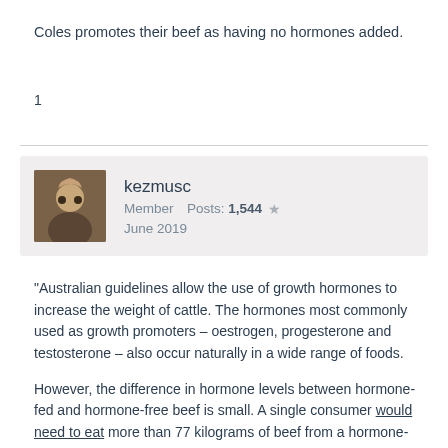Coles promotes their beef as having no hormones added.
1
kezmusc
Member   Posts: 1,544  ★
June 2019
"Australian guidelines allow the use of growth hormones to increase the weight of cattle. The hormones most commonly used as growth promoters – oestrogen, progesterone and testosterone – also occur naturally in a wide range of foods.

However, the difference in hormone levels between hormone-fed and hormone-free beef is small. A single consumer would need to eat more than 77 kilograms of beef from a hormone-treated animal in one sitting to get